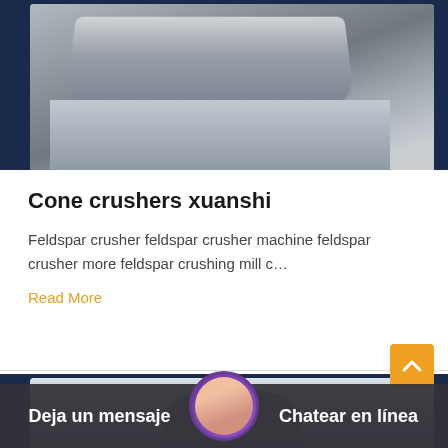[Figure (photo): Industrial cone crusher machine, top portion cropped, shown in a dark navy blue bordered card frame]
Cone crushers xuanshi
Feldspar crusher feldspar crusher machine feldspar crusher more feldspar crushing mill c…
Read More
[Figure (photo): Industrial cone crusher equipment outside a building with blue sky, partially visible, bottom portion of page]
Deja un mensaje
Chatear en línea